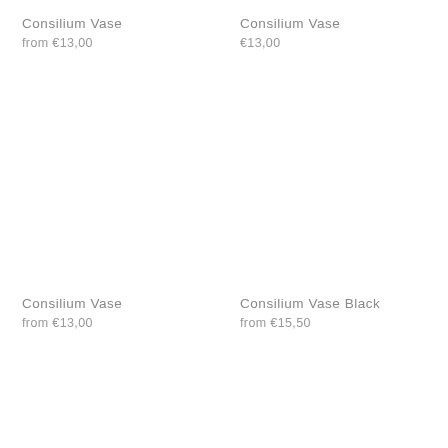Consilium Vase
from €13,00
Consilium Vase
€13,00
Consilium Vase
from €13,00
Consilium Vase Black
from €15,50